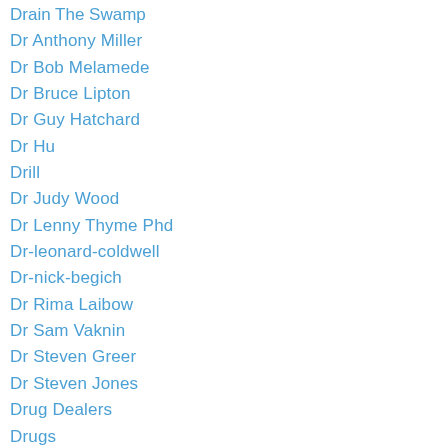Drain The Swamp
Dr Anthony Miller
Dr Bob Melamede
Dr Bruce Lipton
Dr Guy Hatchard
Dr Hu
Drill
Dr Judy Wood
Dr Lenny Thyme Phd
Dr-leonard-coldwell
Dr-nick-begich
Dr Rima Laibow
Dr Sam Vaknin
Dr Steven Greer
Dr Steven Jones
Drug Dealers
Drugs
Drug-war
Dry Fasting
Duncan Cameron
Dunedin